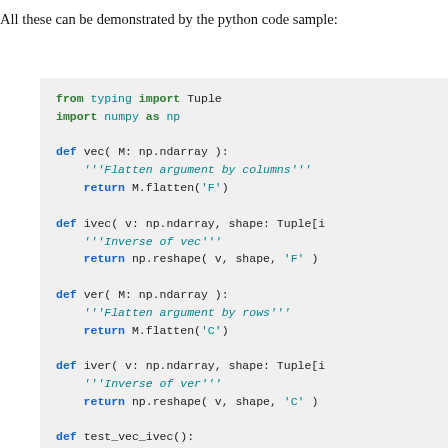All these can be demonstrated by the python code sample:
[Figure (screenshot): Python code block showing functions vec, ivec, ver, iver, test_vec_ivec, test_ver_iver, and test_products with numpy type annotations and docstrings on a light gray background.]